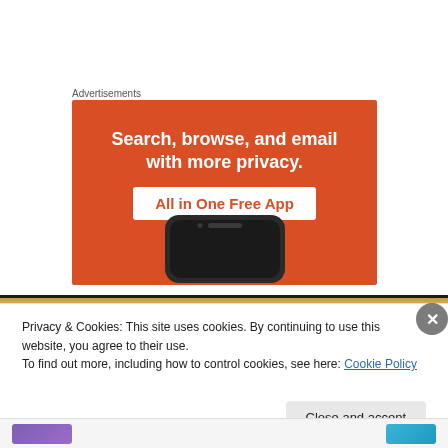Advertisements
[Figure (screenshot): Advertisement banner with orange background showing 'Search, browse, and email with more privacy. All in One Free App' with a smartphone image at the bottom.]
[Figure (photo): Wood texture strip image visible behind the cookie notice overlay.]
Privacy & Cookies: This site uses cookies. By continuing to use this website, you agree to their use.
To find out more, including how to control cookies, see here: Cookie Policy
Close and accept